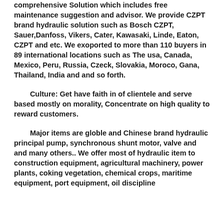comprehensive Solution which includes free maintenance suggestion and advisor. We provide CZPT brand hydraulic solution such as Bosch CZPT, Sauer,Danfoss, Vikers, Cater, Kawasaki, Linde, Eaton, CZPT and etc. We exoported to more than 110 buyers in 89 international locations such as The usa, Canada, Mexico, Peru, Russia, Czeck, Slovakia, Moroco, Gana, Thailand, India and and so forth.
Culture: Get have faith in of clientele and serve based mostly on morality, Concentrate on high quality to reward customers.
Major items are globle and Chinese brand hydraulic principal pump, synchronous shunt motor, valve and and many others.. We offer most of hydraulic item to construction equipment, agricultural machinery, power plants, coking vegetation, chemical crops, maritime equipment, port equipment, oil discipline